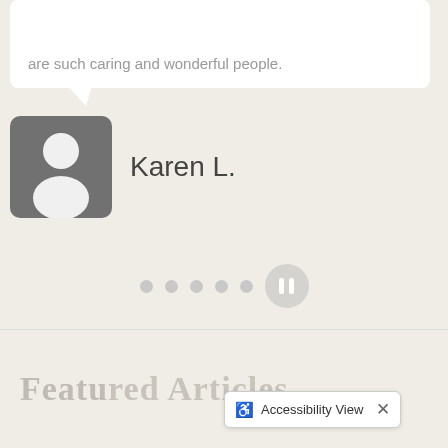are such caring and wonderful people.
[Figure (photo): Generic user avatar icon — grey rounded square with white person silhouette]
Karen L.
[Figure (other): Pagination dots (5 grey dots) and a pause button]
Featured Articles
Accessibility View